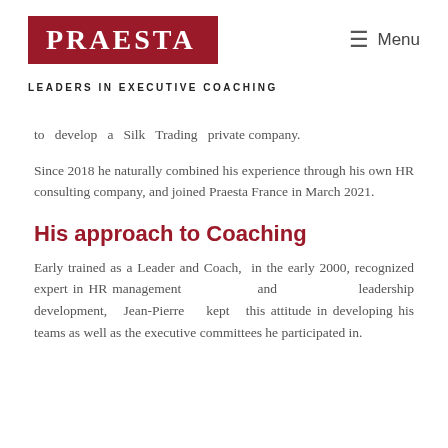PRAESTA — LEADERS IN EXECUTIVE COACHING
to develop a Silk Trading private company.
Since 2018 he naturally combined his experience through his own HR consulting company, and joined Praesta France in March 2021.
His approach to Coaching
Early trained as a Leader and Coach,  in the early 2000, recognized expert in HR management and leadership development, Jean-Pierre kept this attitude in developing his teams as well as the executive committees he participated in.